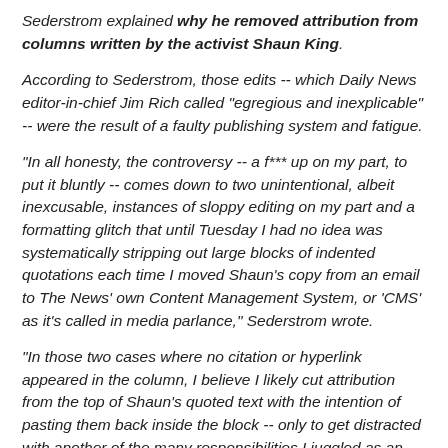Sederstrom explained why he removed attribution from columns written by the activist Shaun King.
According to Sederstrom, those edits -- which Daily News editor-in-chief Jim Rich called "egregious and inexplicable" -- were the result of a faulty publishing system and fatigue.
"In all honesty, the controversy -- a f*** up on my part, to put it bluntly -- comes down to two unintentional, albeit inexcusable, instances of sloppy editing on my part and a formatting glitch that until Tuesday I had no idea was systematically stripping out large blocks of indented quotations each time I moved Shaun's copy from an email to The News' own Content Management System, or 'CMS' as it's called in media parlance," Sederstrom wrote.
"In those two cases where no citation or hyperlink appeared in the column, I believe I likely cut attribution from the top of Shaun's quoted text with the intention of pasting them back inside the block -- only to get distracted with another of the many responsibilities I juggled as an editor," he added.